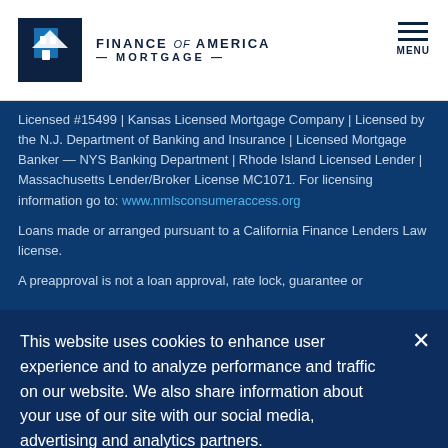Finance of America Mortgage
Licensed #15499 | Kansas Licensed Mortgage Company | Licensed by the N.J. Department of Banking and Insurance | Licensed Mortgage Banker — NYS Banking Department | Rhode Island Licensed Lender | Massachusetts Lender/Broker License MC1071. For licensing information go to: www.nmlsconsumeraccess.org
Loans made or arranged pursuant to a California Finance Lenders Law license.
A preapproval is not a loan approval, rate lock, guarantee or
This website uses cookies to enhance user experience and to analyze performance and traffic on our website. We also share information about your use of our site with our social media, advertising and analytics partners.
Accept Cookies